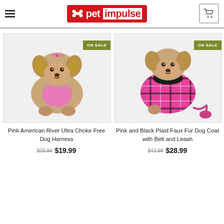petimpulse
[Figure (photo): Dog wearing pink harness with bow, Yorkshire Terrier, ON SALE badge]
Pink American River Ultra Choke Free Dog Harness
$29.99 $19.99
[Figure (photo): Dog wearing pink and black plaid coat, Yorkshire Terrier with leash, ON SALE badge]
Pink and Black Plaid Faux Fur Dog Coat with Belt and Leash
$42.99 $28.99